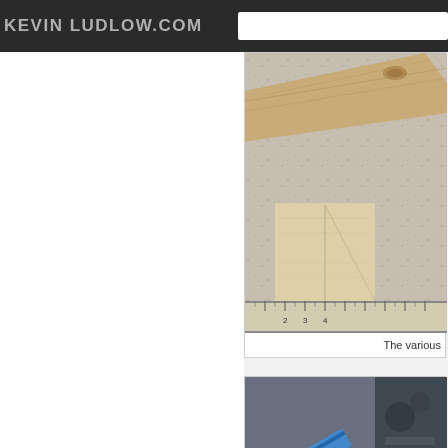KEVIN LUDLOW.COM
[Figure (photo): Photograph of various wood pieces on a granite/speckled surface with a ruler at the bottom, showing cut lumber pieces of different sizes]
The various
[Figure (photo): Photograph of assembled wooden pieces in a workshop/garage setting, showing light-colored wood parts with cut-outs and blue tape measure visible in background]